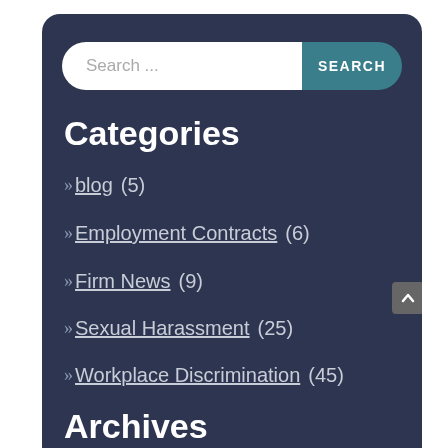[Figure (other): Search bar with text input field showing 'Search ...' placeholder and a teal SEARCH button on dark navy sidebar background]
Categories
>>blog  (5)
>>Employment Contracts  (6)
>>Firm News  (9)
>>Sexual Harassment  (25)
>>Workplace Discrimination  (45)
Archives
>>March 2021  (3)
>>February 2021  (1)